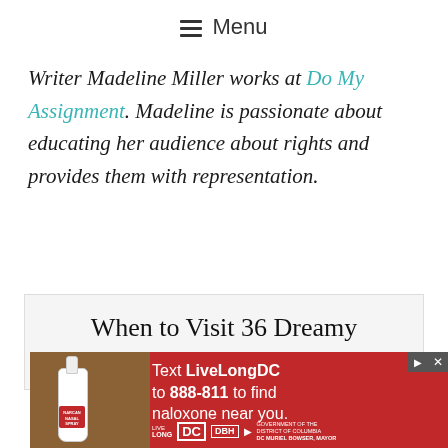☰ Menu
Writer Madeline Miller works at Do My Assignment. Madeline is passionate about educating her audience about rights and provides them with representation.
When to Visit 36 Dreamy Destinations
[Figure (other): Red advertisement banner: Text LiveLongDC to 888-811 to find naloxone near you. Live Long DC logo, DBH logo, DC Government logo. Hand holding a Narcan nasal spray device shown on left side.]